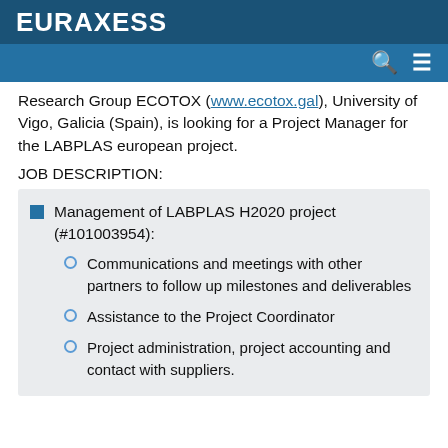EURAXESS
Research Group ECOTOX (www.ecotox.gal), University of Vigo, Galicia (Spain), is looking for a Project Manager for the LABPLAS european project.
JOB DESCRIPTION:
Management of LABPLAS H2020 project (#101003954):
Communications and meetings with other partners to follow up milestones and deliverables
Assistance to the Project Coordinator
Project administration, project accounting and contact with suppliers.